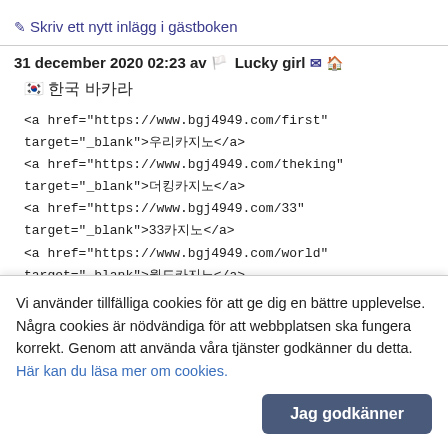✎ Skriv ett nytt inlägg i gästboken
31 december 2020 02:23 av 🏳 Lucky girl ✉ 🏠
🇰🇷 한국 바카라
<a href="https://www.bgj4949.com/first" target="_blank">우리카지노</a>
<a href="https://www.bgj4949.com/theking" target="_blank">더킹카지노</a>
<a href="https://www.bgj4949.com/33" target="_blank">33카지노</a>
<a href="https://www.bgj4949.com/world" target="_blank">월드카지노</a>
<a href="https://www.bgj4949.com/super" target="_blank">슈퍼카지노</a>
<a href="https://www.bgj4949.com/korea" target="_blank">코리아카지노</a>
<a href="https://www.bgj4949.com/gatsby" target="_blank">개츠비카지노</a>
31 december 2020 02:22 av 🏳 Lucky girl ✉ 🏠
Vi använder tillfälliga cookies för att ge dig en bättre upplevelse. Några cookies är nödvändiga för att webbplatsen ska fungera korrekt. Genom att använda våra tjänster godkänner du detta. Här kan du läsa mer om cookies.
Jag godkänner